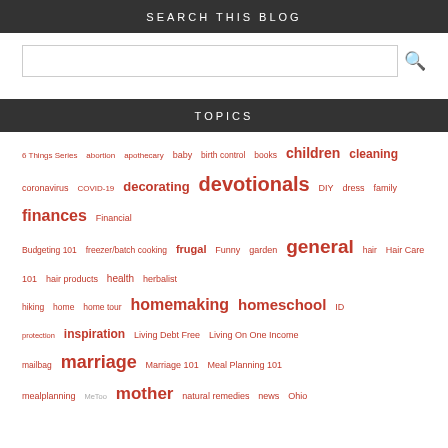SEARCH THIS BLOG
[Figure (other): Search input box with magnifying glass icon]
TOPICS
6 Things Series abortion apothecary baby birth control books children cleaning coronavirus COVID-19 decorating devotionals DIY dress family finances Financial Budgeting 101 freezer/batch cooking frugal Funny garden general hair Hair Care 101 hair products health herbalist hiking home home tour homemaking homeschool ID protection inspiration Living Debt Free Living On One Income mailbag marriage Marriage 101 Meal Planning 101 mealplanning MeToo mother natural remedies news Ohio